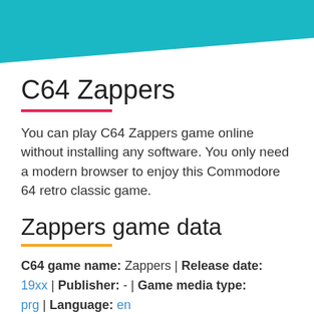[Figure (other): Teal/cyan diagonal banner header background]
C64 Zappers
You can play C64 Zappers game online without installing any software. You only need a modern browser to enjoy this Commodore 64 retro classic game.
Zappers game data
C64 game name: Zappers | Release date: 19xx | Publisher: - | Game media type: prg | Language: en
User rating of this C64 game (you can